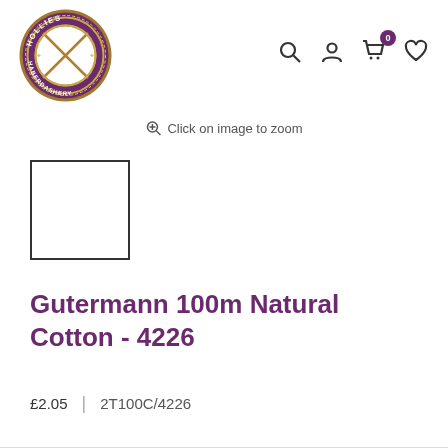[Figure (logo): Hollies Haberdashery circular logo with purple border and gold ring, featuring a cross/wheel design in the center]
[Figure (illustration): Navigation icons: search magnifier, user/account person, shopping cart with badge showing 0, and heart/wishlist icon]
Click on image to zoom
[Figure (other): Small white product swatch thumbnail in a black square border]
Gutermann 100m Natural Cotton - 4226
£2.05  |  2T100C/4226